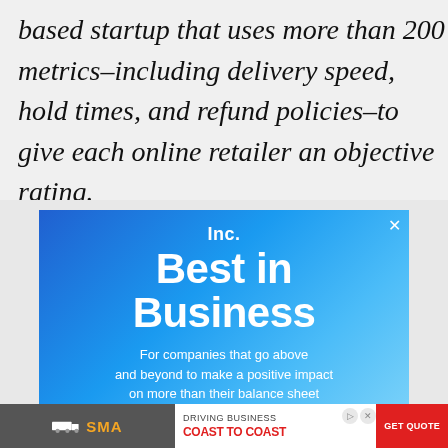based startup that uses more than 200 metrics–including delivery speed, hold times, and refund policies–to give each online retailer an objective rating.
[Figure (illustration): Advertisement for Inc. Best in Business award. Blue gradient background with white text reading 'Inc. Best in Business. For companies that go above and beyond to make a positive impact on more than their balance sheet.' with an 'Apply Now' button. Below is a banner ad for SIA Driving Business Coast to Coast with a Get Quote button.]